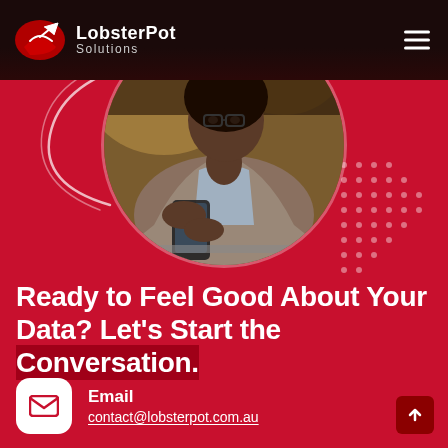[Figure (logo): LobsterPot Solutions logo with red lobster pot icon and white text]
[Figure (photo): Woman with glasses looking at a smartphone, wearing a grey blazer, in a cafe setting, displayed in a circle crop]
Ready to Feel Good About Your Data? Let’s Start the Conversation.
Email
contact@lobsterpot.com.au